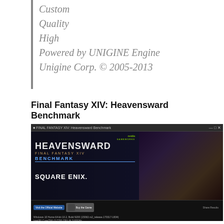Custom
Quality
High
Powered by UNIGINE Engine
Unigine Corp. © 2005-2013
Final Fantasy XIV: Heavensward Benchmark
[Figure (screenshot): Screenshot of the Final Fantasy XIV: Heavensward Benchmark application window showing the benchmark launcher with HEAVENSWARD title, SQUARE ENIX logo, Visit the Official Website and Buy the Game buttons, License Agreement and Settings buttons, Character Creation button, Start button, and system information text.]